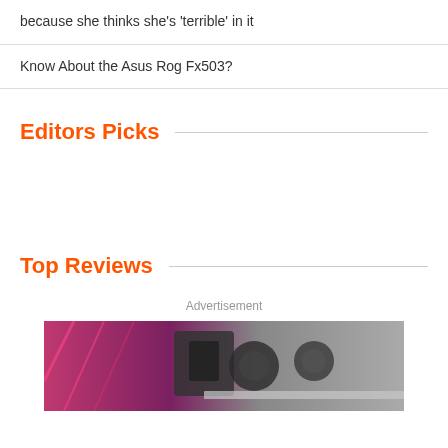because she thinks she's 'terrible' in it
Know About the Asus Rog Fx503?
Editors Picks
Top Reviews
Advertisement
[Figure (photo): Advertisement image showing gaming hardware with pink/magenta and grey tones]